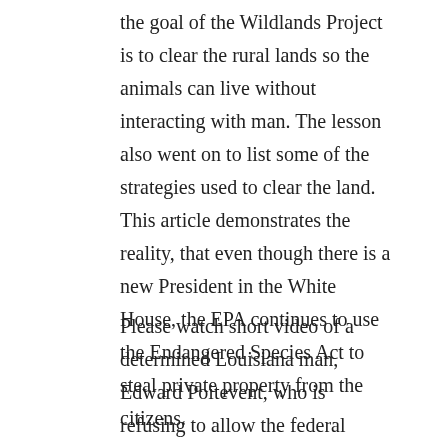the goal of the Wildlands Project is to clear the rural lands so the animals can live without interacting with man. The lesson also went on to list some of the strategies used to clear the land. This article demonstrates the reality, that even though there is a new President in the White House, the EPA continues to use the Endangered Species Act to steal private property from the citizens.
Please watch short video of a determined Louisiana man, Edward Poitevent, who is refusing to allow the federal government to steal his land in order to create habitat for a frog that has not existed in Louisiana for at least 50 years by clicking on